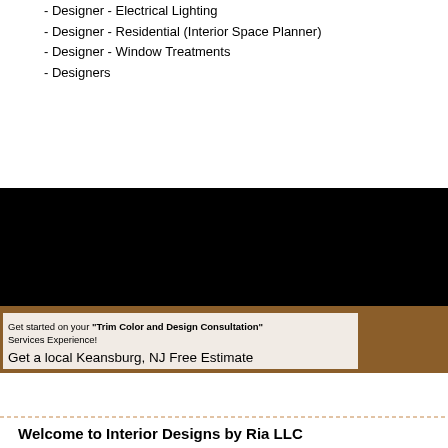- Designer - Electrical Lighting
- Designer - Residential (Interior Space Planner)
- Designer - Window Treatments
- Designers
[Figure (illustration): Black decorative art nouveau pattern banner with repeating symmetrical feather/arch motifs in black and white]
[Figure (illustration): Brown/tan decorative art nouveau pattern banner with repeating arch/fan motifs, overlaid with a white text box reading: Get started on your "Trim Color and Design Consultation" Services Experience! Get a local Keansburg, NJ Free Estimate]
Get started on your "Trim Color and Design Consultation" Services Experience! Get a local Keansburg, NJ Free Estimate
[Figure (illustration): Brown/tan decorative art nouveau pattern banner with repeating arch/fan motifs]
Welcome to Interior Designs by Ria LLC
Get started on your "Trim Color and Design Consultation" with a local...